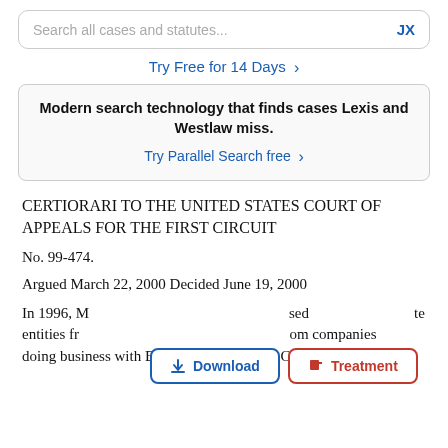Search all cases and statutes... JX
Try Free for 14 Days >
Modern search technology that finds cases Lexis and Westlaw miss.
Try Parallel Search free >
CERTIORARI TO THE UNITED STATES COURT OF APPEALS FOR THE FIRST CIRCUIT
No. 99-474.
Argued March 22, 2000 Decided June 19, 2000
In 1996, M[...] te entities fr[...] or [...] companies doing business with Burma. Subsequently, Congress
[Figure (screenshot): Two UI buttons: a blue-bordered Download button and a red-bordered Treatment button overlaid on the legal text]